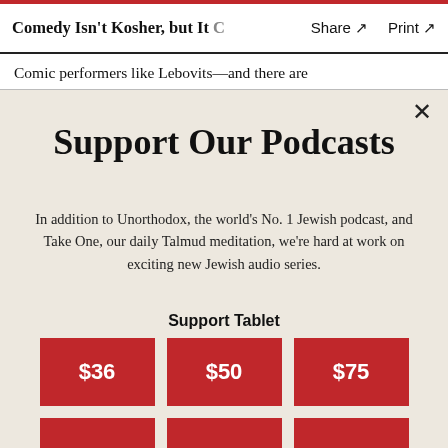Comedy Isn't Kosher, but It C   Share ↗   Print ↗
Comic performers like Lebovits—and there are
Support Our Podcasts
In addition to Unorthodox, the world's No. 1 Jewish podcast, and Take One, our daily Talmud meditation, we're hard at work on exciting new Jewish audio series.
Support Tablet
[Figure (infographic): Three red donation buttons labeled $36, $50, $75 side by side]
[Figure (infographic): Partial row of three more red donation buttons visible at bottom]